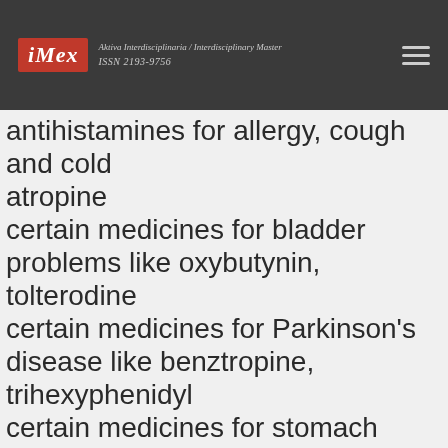iMex — Aktiva Interdisciplinaria / Interdisciplinary Master ISSN 2193-9756
antihistamines for allergy, cough and cold
atropine
certain medicines for bladder problems like oxybutynin, tolterodine
certain medicines for Parkinson's disease like benztropine, trihexyphenidyl
certain medicines for stomach problems like dicyclomine, hyoscyamine
glycopyrrolate
ipratropium
certain medicines for travel sickness like scopolamine
medicines that relax your muscles for surgery